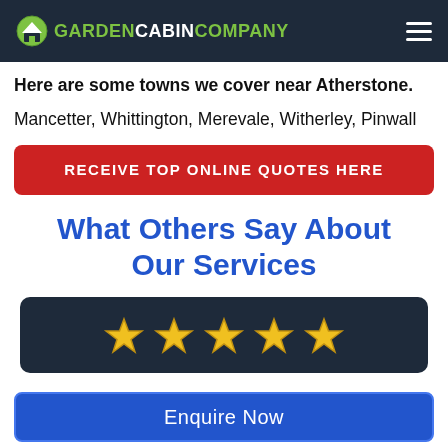GARDEN CABIN COMPANY
Here are some towns we cover near Atherstone.
Mancetter, Whittington, Merevale, Witherley, Pinwall
RECEIVE TOP ONLINE QUOTES HERE
What Others Say About Our Services
[Figure (other): Five gold star rating icons on a dark navy background]
Enquire Now